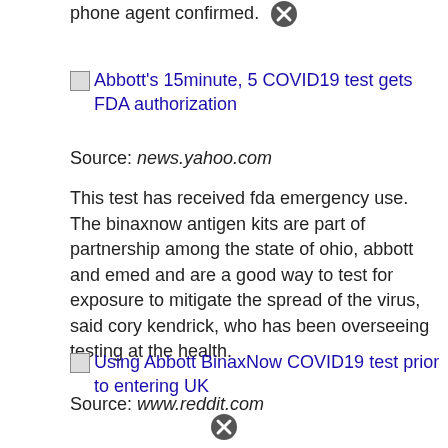phone agent confirmed.
[Figure (other): Broken image icon with close/X button]
[Figure (other): Broken image thumbnail for: Abbott's 15minute, 5 COVID19 test gets FDA authorization]
Abbott's 15minute, 5 COVID19 test gets FDA authorization
Source: news.yahoo.com
This test has received fda emergency use. The binaxnow antigen kits are part of partnership among the state of ohio, abbott and emed and are a good way to test for exposure to mitigate the spread of the virus, said cory kendrick, who has been overseeing testing at the health.
[Figure (other): Broken image thumbnail for: Using Abbott BinaxNow COVID19 test prior to entering UK]
Using Abbott BinaxNow COVID19 test prior to entering UK
Source: www.reddit.com
[Figure (other): Close/X button at bottom]